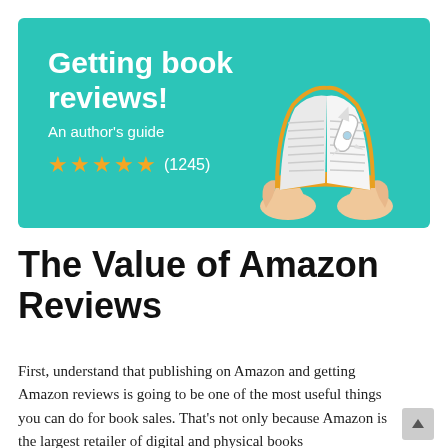[Figure (illustration): Teal/turquoise banner with white bold text 'Getting book reviews!' and subtitle 'An author's guide', five gold stars and '(1245)' review count, with an illustration of two hands holding up an open book with a rocket on the right side.]
The Value of Amazon Reviews
First, understand that publishing on Amazon and getting Amazon reviews is going to be one of the most useful things you can do for book sales. That's not only because Amazon is the largest retailer of digital and physical books